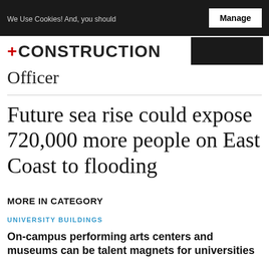We Use Cookies! And, you should   Manage
+CONSTRUCTION
Officer
Future sea rise could expose 720,000 more people on East Coast to flooding
MORE IN CATEGORY
UNIVERSITY BUILDINGS
On-campus performing arts centers and museums can be talent magnets for universities